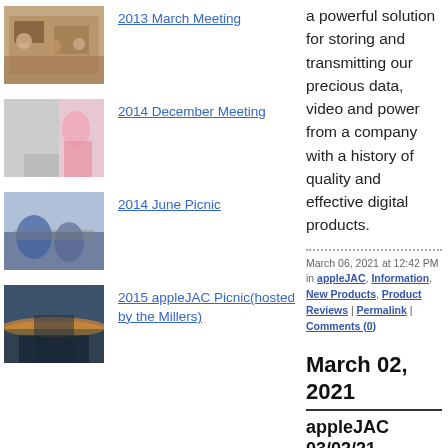[Figure (photo): Thumbnail photo of a meeting room with people seated]
2013 March Meeting
[Figure (photo): Thumbnail photo of a person presenting at a meeting]
2014 December Meeting
[Figure (photo): Thumbnail photo of people at a picnic]
2014 June Picnic
[Figure (photo): Thumbnail photo of a sunset over water]
2015 appleJAC Picnic(hosted by the Millers)
a powerful solution for storing and transmitting our precious data, video and power from a company with a history of quality and effective digital products.
March 06, 2021 at 12:42 PM in appleJAC, Information, New Products, Product Reviews | Permalink | Comments (0)
March 02, 2021
appleJAC 03/02/21